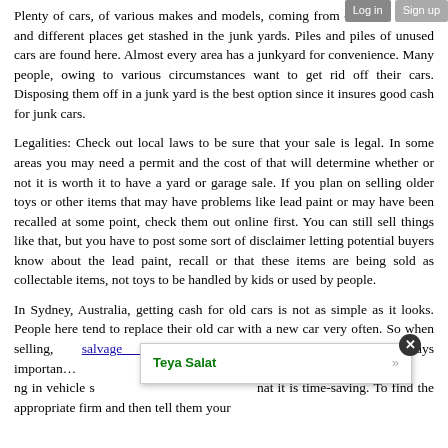Plenty of cars, of various makes and models, coming from different owners and different places get stashed in the junk yards. Piles and piles of unused cars are found here. Almost every area has a junkyard for convenience. Many people, owing to various circumstances want to get rid off their cars. Disposing them off in a junk yard is the best option since it insures good cash for junk cars.
Legalities: Check out local laws to be sure that your sale is legal. In some areas you may need a permit and the cost of that will determine whether or not it is worth it to have a yard or garage sale. If you plan on selling older toys or other items that may have problems like lead paint or may have been recalled at some point, check them out online first. You can still sell things like that, but you have to post some sort of disclaimer letting potential buyers know about the lead paint, recall or that these items are being sold as collectable items, not toys to be handled by kids or used by people.
In Sydney, Australia, getting cash for old cars is not as simple as it looks. People here tend to replace their old car with a new car very often. So when selling, salvage yards near me open is always important... sell your use... ng in vehicle s... nat it is time-saving. To find the appropriate firm and then tell them your